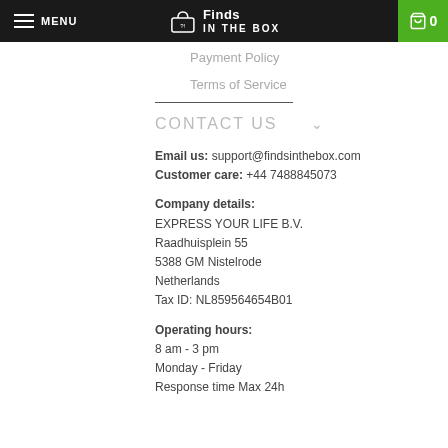MENU | Finds IN THE BOX | 0
Payment Policy
Terms of Service
CONTACT US
Email us: support@findsinthebox.com
Customer care: +44 7488845073
Company details:
EXPRESS YOUR LIFE B.V.
Raadhuisplein 55
5388 GM Nistelrode
Netherlands
Tax ID: NL859564654B01
Operating hours:
8 am - 3 pm
Monday - Friday
Response time Max 24h